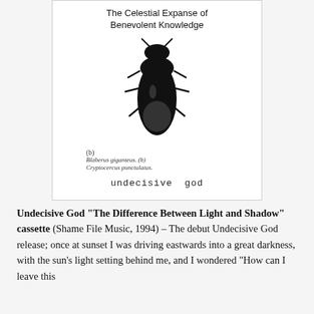[Figure (photo): Cassette/zine cover showing handwritten text 'The Celestial Expanse of Benevolent Knowledge', a black beetle illustration labeled (b) with caption 'Blaberus giganteus. (b) Cryptocercus punctulatus.', and the text 'undecisive god' in monospace font at the bottom.]
Undecisive God "The Difference Between Light and Shadow" cassette (Shame File Music, 1994) – The debut Undecisive God release; once at sunset I was driving eastwards into a great darkness, with the sun's light setting behind me, and I wondered "How can I leave this